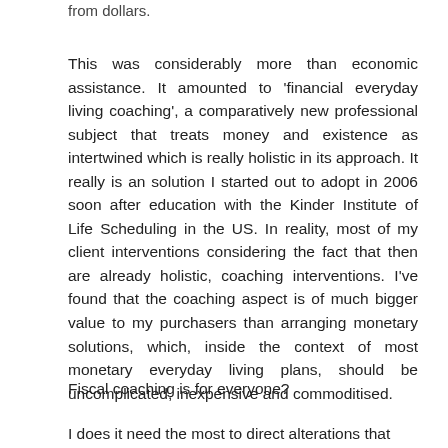from dollars.
This was considerably more than economic assistance. It amounted to ‘financial everyday living coaching’, a comparatively new professional subject that treats money and existence as intertwined which is really holistic in its approach. It really is an solution I started out to adopt in 2006 soon after education with the Kinder Institute of Life Scheduling in the US. In reality, most of my client interventions considering the fact that then are already holistic, coaching interventions. I’ve found that the coaching aspect is of much bigger value to my purchasers than arranging monetary solutions, which, inside the context of most monetary everyday living plans, should be uncomplicated, inexpensive and commoditised.
Fiscal coaching is for everyone?
I does it need the most to direct alterations that